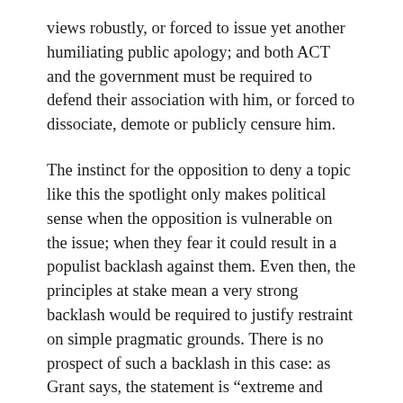views robustly, or forced to issue yet another humiliating public apology; and both ACT and the government must be required to defend their association with him, or forced to dissociate, demote or publicly censure him.
The instinct for the opposition to deny a topic like this the spotlight only makes political sense when the opposition is vulnerable on the issue; when they fear it could result in a populist backlash against them. Even then, the principles at stake mean a very strong backlash would be required to justify restraint on simple pragmatic grounds. There is no prospect of such a backlash in this case: as Grant says, the statement is “extreme and appalling”. Does Grant think his own sense of what is extreme and appalling differs so much from that of the electorate that they will not agree with him? The worst possible course of action for ACT and the government is to allow this topic to remain at the top of the political agenda for as long as possible. Failing to even try to keep it there shows a lack of political nerve on the part of the